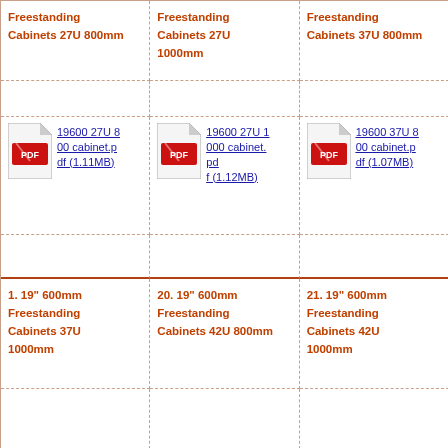Freestanding Cabinets 27U 800mm
Freestanding Cabinets 27U 1000mm
Freestanding Cabinets 37U 800mm
[Figure (other): PDF icon with link: 19600 27U 8 00 cabinet.pdf (1.11MB)]
[Figure (other): PDF icon with link: 19600 27U 1 000 cabinet.pdf (1.12MB)]
[Figure (other): PDF icon with link: 19600 37U 8 00 cabinet.pdf (1.07MB)]
1. 19" 600mm Freestanding Cabinets 37U 1000mm
20. 19" 600mm Freestanding Cabinets 42U 800mm
21. 19" 600mm Freestanding Cabinets 42U 1000mm